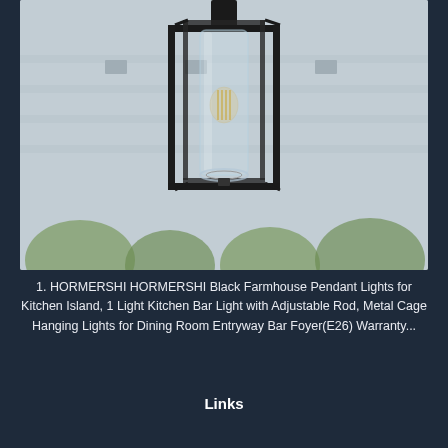[Figure (photo): Black metal cage pendant light with seeded glass cylinder shade and Edison bulb filament, photographed against a light grey wall with green foliage in background]
1. HORMERSHI HORMERSHI Black Farmhouse Pendant Lights for Kitchen Island, 1 Light Kitchen Bar Light with Adjustable Rod, Metal Cage Hanging Lights for Dining Room Entryway Bar Foyer(E26) Warranty...
Links